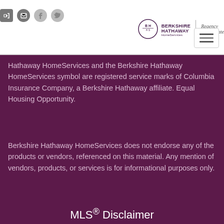[Figure (logo): Berkshire Hathaway HomeServices Regency Real Estate logo with circular emblem]
Hathaway HomeServices and the Berkshire Hathaway HomeServices symbol are registered service marks of Columbia Insurance Company, a Berkshire Hathaway affiliate. Equal Housing Opportunity.
Berkshire Hathaway HomeServices does not endorse any of the products or vendors, referenced on this material. Any mention of vendors, products, or services is for informational purposes only.
MLS® Disclaimer